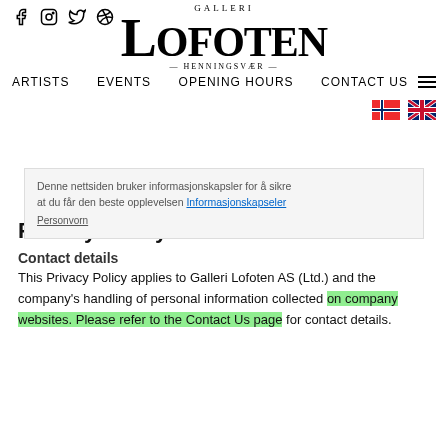Galleri Lofoten – Henningsvær (header with nav: ARTISTS, EVENTS, OPENING HOURS, CONTACT US)
Denne nettsiden bruker informasjonskapsler for å sikre at du får den beste opplevelsen Informasjonskapseler Personvorn OK
Privacy Policy and Cookies
Contact details
This Privacy Policy applies to Galleri Lofoten AS (Ltd.) and the company's handling of personal information collected on company websites. Please refer to the Contact Us page for contact details.